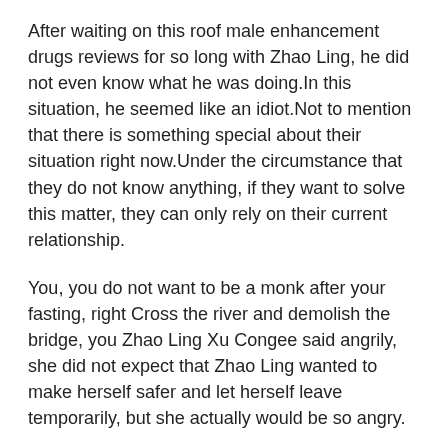After waiting on this roof male enhancement drugs reviews for so long with Zhao Ling, he did not even know what he was doing.In this situation, he seemed like an idiot.Not to mention that there is something special about their situation right now.Under the circumstance that they do not know anything, if they want to solve this matter, they can only rely on their current relationship.
You, you do not want to be a monk after your fasting, right Cross the river and demolish the bridge, you Zhao Ling Xu Congee said angrily, she did not expect that Zhao Ling wanted to make herself safer and let herself leave temporarily, but she actually would be so angry.
Maybe the reason is because she wants one to follow Zhao Ling, no matter what happens later, she always thinks about what he has been going through in her heart.